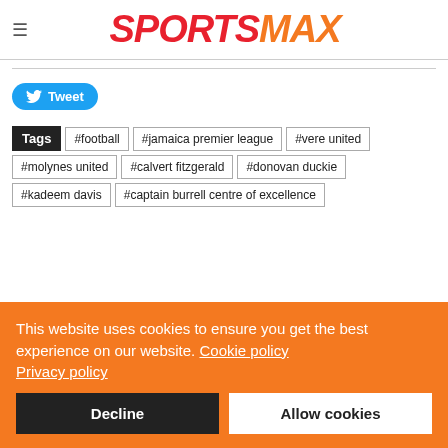SPORTSMAX
[Figure (logo): SportsMax logo with hamburger menu icon]
Tweet
Tags #football #jamaica premier league #vere united #molynes united #calvert fitzgerald #donovan duckie #kadeem davis #captain burrell centre of excellence
This website uses cookies to ensure you get the best experience on our website. Cookie policy Privacy policy
Decline  Allow cookies